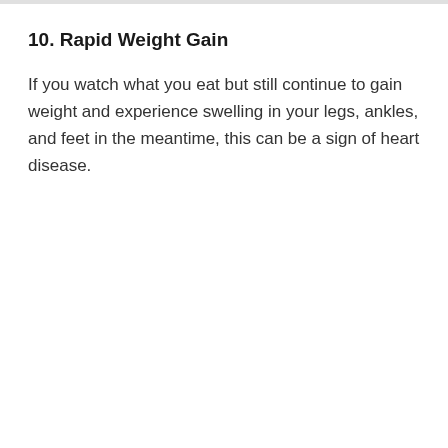10. Rapid Weight Gain
If you watch what you eat but still continue to gain weight and experience swelling in your legs, ankles, and feet in the meantime, this can be a sign of heart disease.